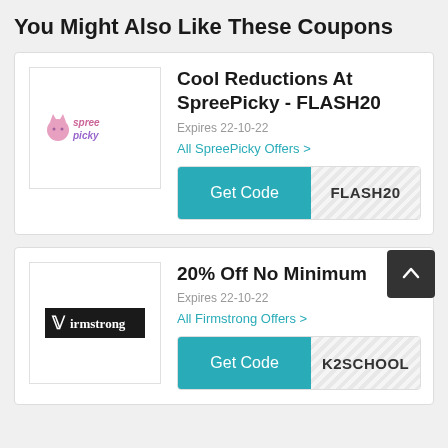You Might Also Like These Coupons
Cool Reductions At SpreePicky - FLASH20
Expires 22-10-22
All SpreePicky Offers >
Get Code   FLASH20
20% Off No Minimum
Expires 22-10-22
All Firmstrong Offers >
Get Code   K2SCHOOL